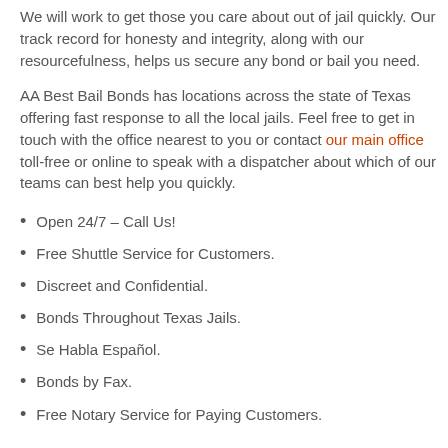We will work to get those you care about out of jail quickly. Our track record for honesty and integrity, along with our resourcefulness, helps us secure any bond or bail you need.
AA Best Bail Bonds has locations across the state of Texas offering fast response to all the local jails. Feel free to get in touch with the office nearest to you or contact our main office toll-free or online to speak with a dispatcher about which of our teams can best help you quickly.
Open 24/7 – Call Us!
Free Shuttle Service for Customers.
Discreet and Confidential.
Bonds Throughout Texas Jails.
Se Habla Español.
Bonds by Fax.
Free Notary Service for Paying Customers.